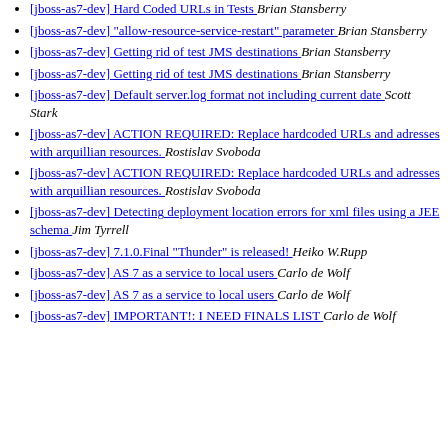[jboss-as7-dev] Hard Coded URLs in Tests  Brian Stansberry
[jboss-as7-dev] "allow-resource-service-restart" parameter  Brian Stansberry
[jboss-as7-dev] Getting rid of test JMS destinations  Brian Stansberry
[jboss-as7-dev] Getting rid of test JMS destinations  Brian Stansberry
[jboss-as7-dev] Default server.log format not including current date  Scott Stark
[jboss-as7-dev] ACTION REQUIRED: Replace hardcoded URLs and adresses with arquillian resources.  Rostislav Svoboda
[jboss-as7-dev] ACTION REQUIRED: Replace hardcoded URLs and adresses with arquillian resources.  Rostislav Svoboda
[jboss-as7-dev] Detecting deployment location errors for xml files using a JEE schema  Jim Tyrrell
[jboss-as7-dev] 7.1.0.Final "Thunder" is released!  Heiko W.Rupp
[jboss-as7-dev] AS 7 as a service to local users  Carlo de Wolf
[jboss-as7-dev] AS 7 as a service to local users  Carlo de Wolf
[jboss-as7-dev] IMPORTANT!: I NEED FINALS LIST  Carlo de Wolf